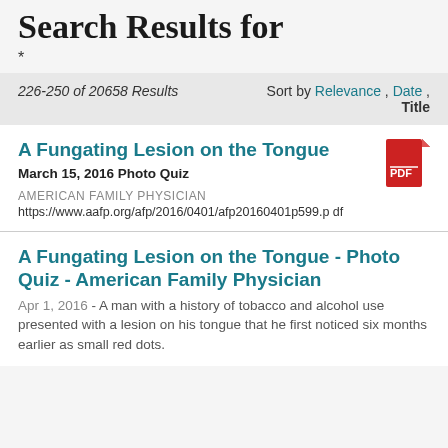Search Results for
*
226-250 of 20658 Results    Sort by Relevance , Date , Title
A Fungating Lesion on the Tongue
March 15, 2016 Photo Quiz
AMERICAN FAMILY PHYSICIAN
https://www.aafp.org/afp/2016/0401/afp20160401p599.pdf
[Figure (other): Red PDF file icon]
A Fungating Lesion on the Tongue - Photo Quiz - American Family Physician
Apr 1, 2016 - A man with a history of tobacco and alcohol use presented with a lesion on his tongue that he first noticed six months earlier as small red dots.